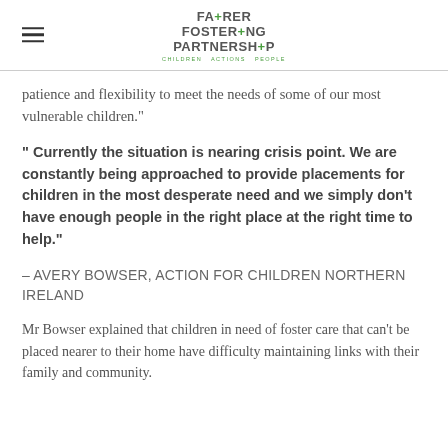Fairer Fostering Partnership — Children. Actions. People.
patience and flexibility to meet the needs of some of our most vulnerable children."
" Currently the situation is nearing crisis point. We are constantly being approached to provide placements for children in the most desperate need and we simply don't have enough people in the right place at the right time to help."
– AVERY BOWSER, ACTION FOR CHILDREN NORTHERN IRELAND
Mr Bowser explained that children in need of foster care that can't be placed nearer to their home have difficulty maintaining links with their family and community.